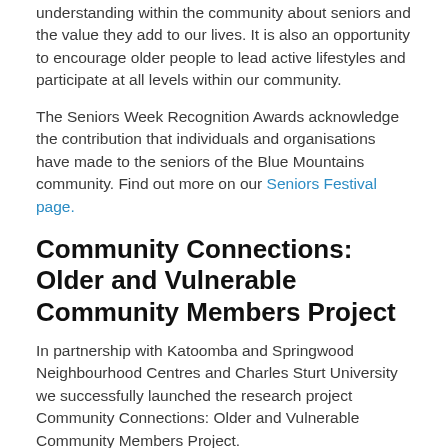understanding within the community about seniors and the value they add to our lives. It is also an opportunity to encourage older people to lead active lifestyles and participate at all levels within our community.
The Seniors Week Recognition Awards acknowledge the contribution that individuals and organisations have made to the seniors of the Blue Mountains community. Find out more on our Seniors Festival page.
Community Connections: Older and Vulnerable Community Members Project
In partnership with Katoomba and Springwood Neighbourhood Centres and Charles Sturt University we successfully launched the research project Community Connections: Older and Vulnerable Community Members Project.
This research project aimed to identify the needs of vulnerable community members and inform approaches and strategies to address social inclusion and safety needs of the community's